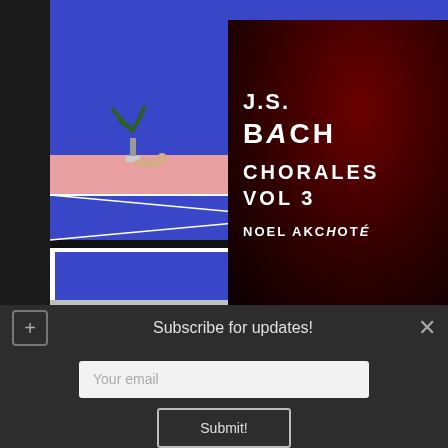[Figure (illustration): Blue pool illustration in the style of Hockney — a modernist house with palm trees, pink poolside, blue water, small figures lounging]
[Figure (photo): J.S. Bach Chorales Vol 3 by Noel Akchoté — dark red album cover with text overlay]
Subscribe for updates!
[Figure (other): Email subscription form with 'Your email' input field and 'Submit!' button on dark background]